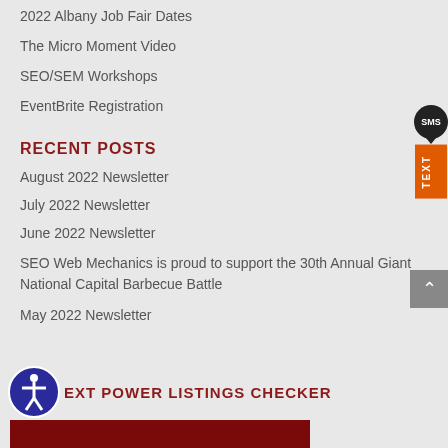2022 Albany Job Fair Dates
The Micro Moment Video
SEO/SEM Workshops
EventBrite Registration
RECENT POSTS
August 2022 Newsletter
July 2022 Newsletter
June 2022 Newsletter
SEO Web Mechanics is proud to support the 30th Annual Giant National Capital Barbecue Battle
May 2022 Newsletter
EXT POWER LISTINGS CHECKER